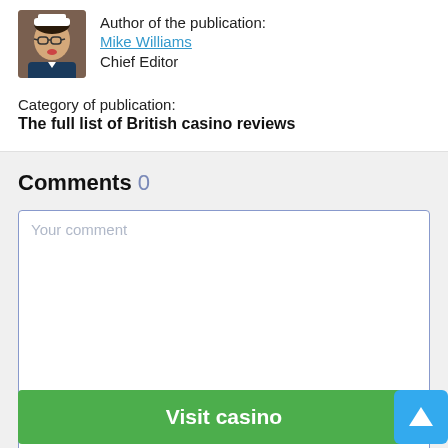[Figure (photo): Headshot photo of author Mike Williams, a man with glasses sticking out his tongue, wearing a dark top]
Author of the publication:
Mike Williams
Chief Editor
Category of publication:
The full list of British casino reviews
Comments 0
Your comment
Visit casino
Your name